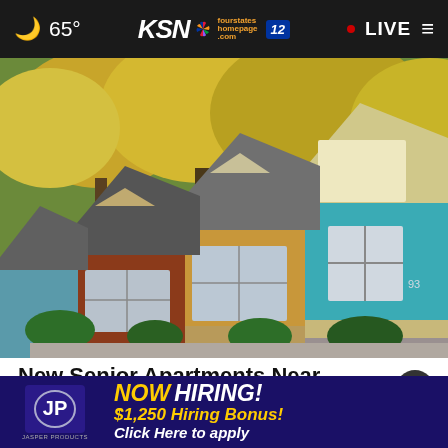65° KSN fourstates homepage.com 12 • LIVE ≡
[Figure (photo): Three colorful small houses side by side: a rust/orange house on the left, a tan/yellow house in the center, and a bright teal/blue house on the right, with autumn trees in the background]
New Senior Apartments Near Ashburn (Take a Look at the Prices)
Senio
[Figure (infographic): Jasper Products advertisement banner: NOW HIRING! $1,250 Hiring Bonus! Click Here to apply]